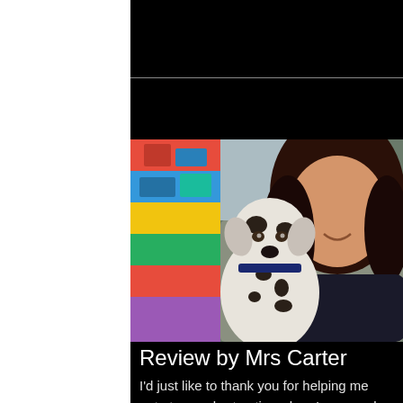[Figure (photo): A woman with long dark hair smiling next to a Dalmatian puppy wearing a blue collar, indoors with colorful toys/blocks visible in the background.]
Review by Mrs Carter
I'd just like to thank you for helping me out at very short notice when I rang and informed you we were desperate to find